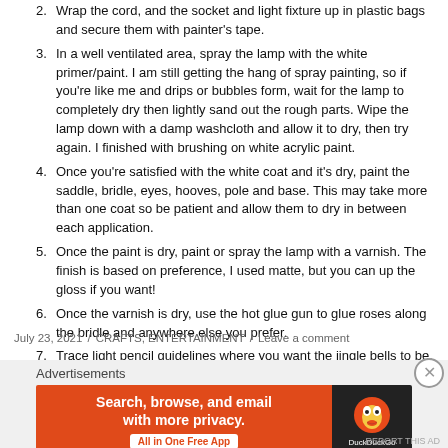2. Wrap the cord, and the socket and light fixture up in plastic bags and secure them with painter's tape.
3. In a well ventilated area, spray the lamp with the white primer/paint. I am still getting the hang of spray painting, so if you're like me and drips or bubbles form, wait for the lamp to completely dry then lightly sand out the rough parts. Wipe the lamp down with a damp washcloth and allow it to dry, then try again. I finished with brushing on white acrylic paint.
4. Once you're satisfied with the white coat and it's dry, paint the saddle, bridle, eyes, hooves, pole and base. This may take more than one coat so be patient and allow them to dry in between each application.
5. Once the paint is dry, paint or spray the lamp with a varnish. The finish is based on preference, I used matte, but you can up the gloss if you want!
6. Once the varnish is dry, use the hot glue gun to glue roses along the bridle and anywhere else you prefer.
7. Trace light pencil guidelines where you want the jingle bells to be, then attach them with hot glue.
8. Insert a light bulb of your choice and enjoy!
July 23, 2021 / CRAFTS, ENTERTAINMENT / Leave a comment
Advertisements
[Figure (screenshot): DuckDuckGo advertisement banner: orange left panel with text 'Search, browse, and email with more privacy. All in One Free App' and dark right panel with DuckDuckGo logo]